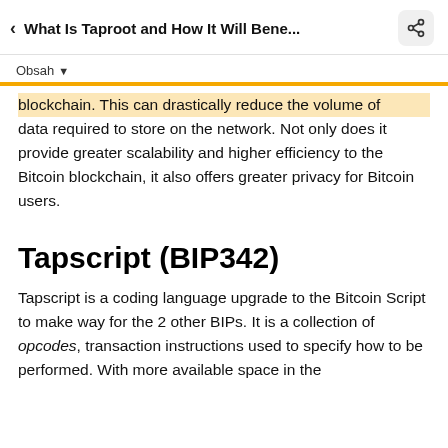< What Is Taproot and How It Will Bene...
Obsah ▾
blockchain. This can drastically reduce the volume of data required to store on the network. Not only does it provide greater scalability and higher efficiency to the Bitcoin blockchain, it also offers greater privacy for Bitcoin users.
Tapscript (BIP342)
Tapscript is a coding language upgrade to the Bitcoin Script to make way for the 2 other BIPs. It is a collection of opcodes, transaction instructions used to specify how to be performed. With more available space in the